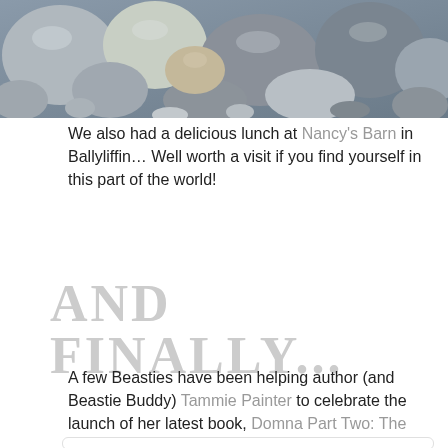[Figure (photo): Close-up photograph of smooth pebbles and rocks in various shades of grey, beige, and brown.]
We also had a delicious lunch at Nancy's Barn in Ballyliffin… Well worth a visit if you find yourself in this part of the world!
AND FINALLY...
A few Beasties have been helping author (and Beastie Buddy) Tammie Painter to celebrate the launch of her latest book, Domna Part Two: The Solon's Son!
[Figure (screenshot): Partial view of a social media post card with a round avatar and a grey blurred username bar visible at the bottom edge of the page.]